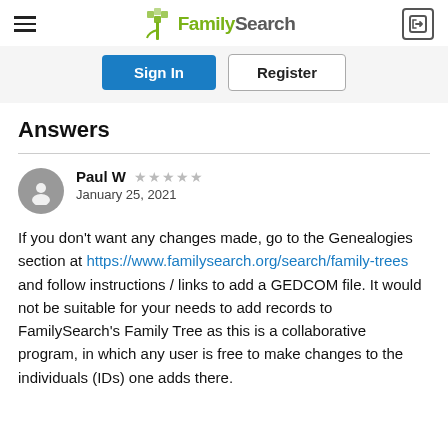FamilySearch — navigation header with hamburger menu and login icon
[Figure (screenshot): Sign In (blue button) and Register (outlined button)]
Answers
Paul W ★★★★★ January 25, 2021
If you don't want any changes made, go to the Genealogies section at https://www.familysearch.org/search/family-trees and follow instructions / links to add a GEDCOM file. It would not be suitable for your needs to add records to FamilySearch's Family Tree as this is a collaborative program, in which any user is free to make changes to the individuals (IDs) one adds there.